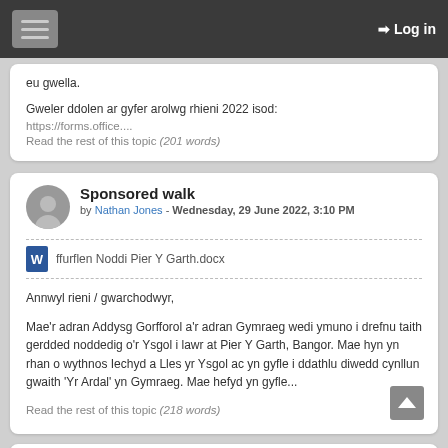Log in
eu gwella.
Gweler ddolen ar gyfer arolwg rhieni 2022 isod:
https://forms.office....
Read the rest of this topic (201 words)
Sponsored walk
by Nathan Jones - Wednesday, 29 June 2022, 3:10 PM
ffurflen Noddi Pier Y Garth.docx
Annwyl rieni / gwarchodwyr,
Mae'r adran Addysg Gorfforol a'r adran Gymraeg wedi ymuno i drefnu taith gerdded noddedig o'r Ysgol i lawr at Pier Y Garth, Bangor. Mae hyn yn rhan o wythnos Iechyd a Lles yr Ysgol ac yn gyfle i ddathlu diwedd cynllun gwaith 'Yr Ardal' yn Gymraeg. Mae hefyd yn gyfle...
Read the rest of this topic (218 words)
6th form – Interested in studying for a Pearson BTEC Level